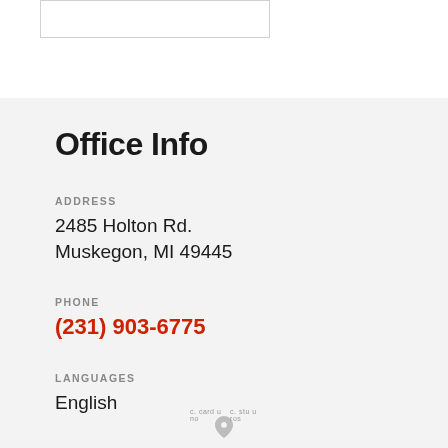[Figure (other): Empty white rectangle outline at top of page]
Office Info
ADDRESS
2485 Holton Rd.
Muskegon, MI 49445
PHONE
(231) 903-6775
LANGUAGES
English
c. card u no   c. stu u ros